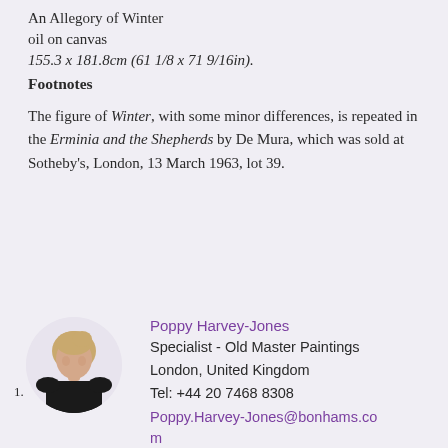An Allegory of Winter
oil on canvas
155.3 x 181.8cm (61 1/8 x 71 9/16in).
Footnotes
The figure of Winter, with some minor differences, is repeated in the Erminia and the Shepherds by De Mura, which was sold at Sotheby's, London, 13 March 1963, lot 39.
[Figure (photo): Circular portrait photo of Poppy Harvey-Jones, a woman with blonde hair wearing a black top]
Poppy Harvey-Jones
Specialist - Old Master Paintings
London, United Kingdom
Tel: +44 20 7468 8308
Poppy.Harvey-Jones@bonhams.com